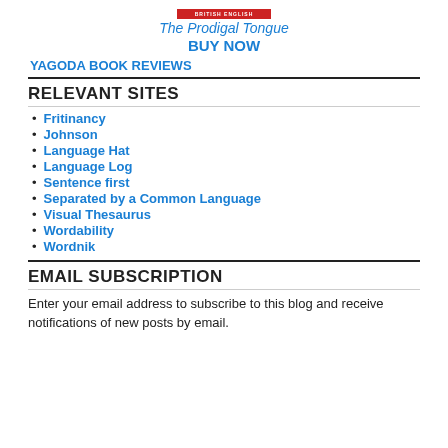[Figure (logo): Red banner with white text 'BRITISH ENGLISH']
The Prodigal Tongue
BUY NOW
YAGODA BOOK REVIEWS
RELEVANT SITES
Fritinancy
Johnson
Language Hat
Language Log
Sentence first
Separated by a Common Language
Visual Thesaurus
Wordability
Wordnik
EMAIL SUBSCRIPTION
Enter your email address to subscribe to this blog and receive notifications of new posts by email.